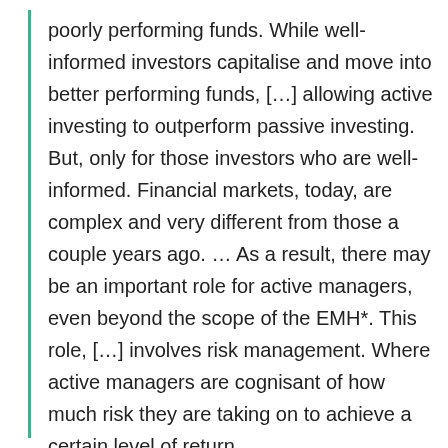poorly performing funds. While well-informed investors capitalise and move into better performing funds, […] allowing active investing to outperform passive investing. But, only for those investors who are well-informed. Financial markets, today, are complex and very different from those a couple years ago. … As a result, there may be an important role for active managers, even beyond the scope of the EMH*. This role, […] involves risk management. Where active managers are cognisant of how much risk they are taking on to achieve a certain level of return.